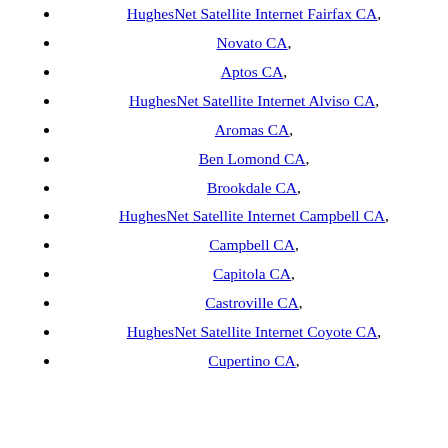HughesNet Satellite Internet Fairfax CA,
Novato CA,
Aptos CA,
HughesNet Satellite Internet Alviso CA,
Aromas CA,
Ben Lomond CA,
Brookdale CA,
HughesNet Satellite Internet Campbell CA,
Campbell CA,
Capitola CA,
Castroville CA,
HughesNet Satellite Internet Coyote CA,
Cupertino CA,